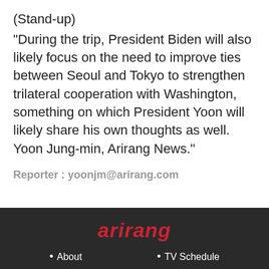(Stand-up)
"During the trip, President Biden will also likely focus on the need to improve ties between Seoul and Tokyo to strengthen trilateral cooperation with Washington, something on which President Yoon will likely share his own thoughts as well. Yoon Jung-min, Arirang News."
Reporter : yoonjm@arirang.com
[Figure (logo): Arirang logo in red italic text on dark background]
About
TV Schedule